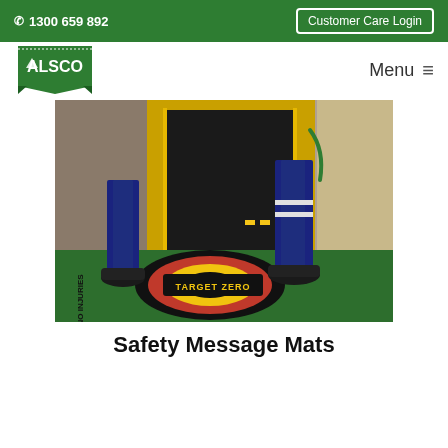1300 659 892   Customer Care Login
[Figure (logo): Alsco company logo on green background]
Menu ≡
[Figure (photo): Two workers in navy blue workwear and safety boots standing on a green safety mat with 'TARGET ZERO' and 'NO INJURIES' printed on it, in front of yellow industrial equipment]
Safety Message Mats